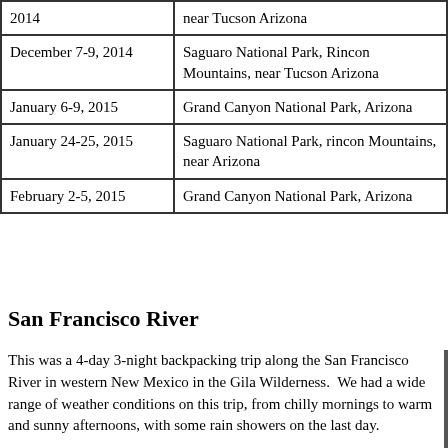| Date | Location |
| --- | --- |
| 2014 | near Tucson Arizona |
| December 7-9, 2014 | Saguaro National Park, Rincon Mountains, near Tucson Arizona |
| January 6-9, 2015 | Grand Canyon National Park, Arizona |
| January 24-25, 2015 | Saguaro National Park, rincon Mountains, near Arizona |
| February 2-5, 2015 | Grand Canyon National Park, Arizona |
San Francisco River
This was a 4-day 3-night backpacking trip along the San Francisco River in western New Mexico in the Gila Wilderness.  We had a wide range of weather conditions on this trip, from chilly mornings to warm and sunny afternoons, with some rain showers on the last day.